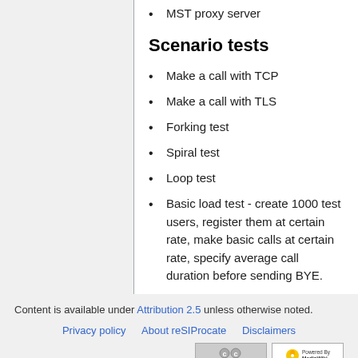MST proxy server
Scenario tests
Make a call with TCP
Make a call with TLS
Forking test
Spiral test
Loop test
Basic load test - create 1000 test users, register them at certain rate, make basic calls at certain rate, specify average call duration before sending BYE.
Content is available under Attribution 2.5 unless otherwise noted.
Privacy policy   About reSIProcate   Disclaimers